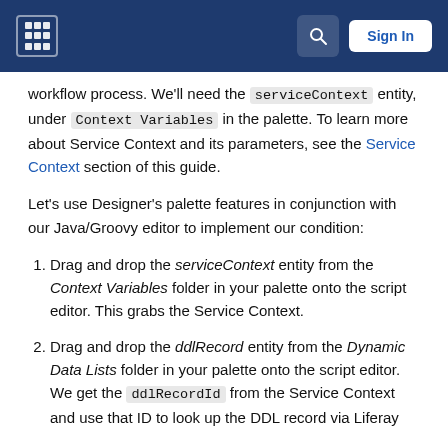Sign In
workflow process. We'll need the serviceContext entity, under Context Variables in the palette. To learn more about Service Context and its parameters, see the Service Context section of this guide.
Let's use Designer's palette features in conjunction with our Java/Groovy editor to implement our condition:
Drag and drop the serviceContext entity from the Context Variables folder in your palette onto the script editor. This grabs the Service Context.
Drag and drop the ddlRecord entity from the Dynamic Data Lists folder in your palette onto the script editor. We get the ddlRecordId from the Service Context and use that ID to look up the DDL record via Liferay